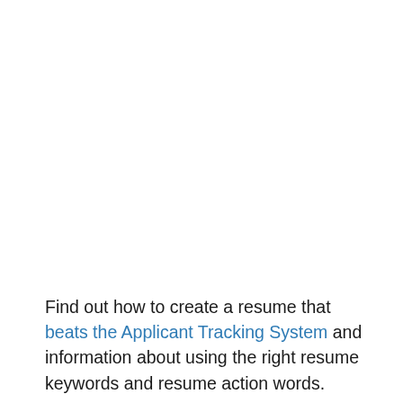Find out how to create a resume that beats the Applicant Tracking System and information about using the right resume keywords and resume action words.